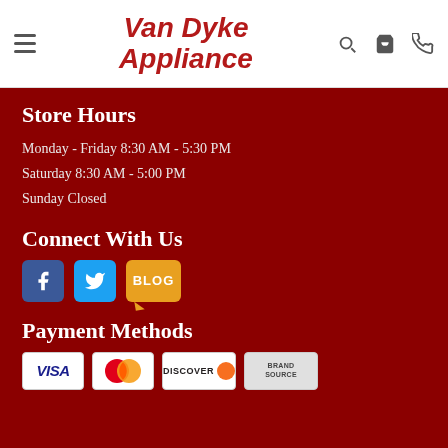Van Dyke Appliance
Store Hours
Monday - Friday 8:30 AM - 5:30 PM
Saturday 8:30 AM - 5:00 PM
Sunday Closed
Connect With Us
[Figure (logo): Social media icons: Facebook (blue), Twitter (light blue), Blog (orange speech bubble)]
Payment Methods
[Figure (logo): Payment method logos: Visa, MasterCard, Discover, Brand Source]